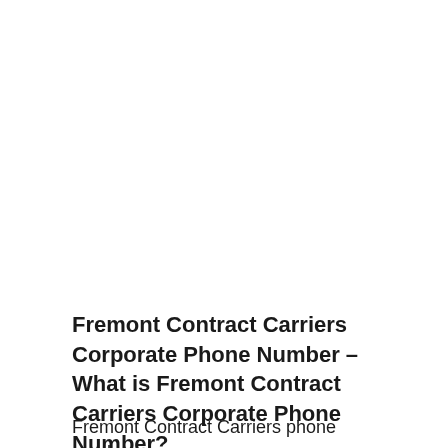Fremont Contract Carriers Corporate Phone Number – What is Fremont Contract Carriers Corporate Phone Number?
Fremont Contract Carriers phone number